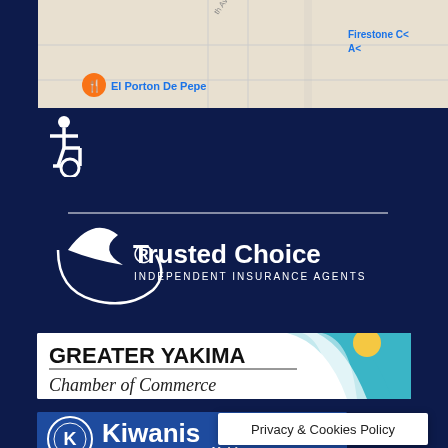[Figure (map): Google Maps snippet showing street grid with 'El Porton De Pepe' marker and 'Firestone Co. Au...' label visible]
[Figure (illustration): Wheelchair accessibility icon in white on dark navy background]
[Figure (logo): Trusted Choice Independent Insurance Agents logo — white bird and circular design with text on navy background]
[Figure (logo): Greater Yakima Chamber of Commerce logo — bold black text with teal river/sun graphic on white background]
[Figure (logo): Kiwanis International Yakima logo — white K emblem and bold white Kiwanis text with 'Yakima' subtitle on blue background]
Privacy & Cookies Policy